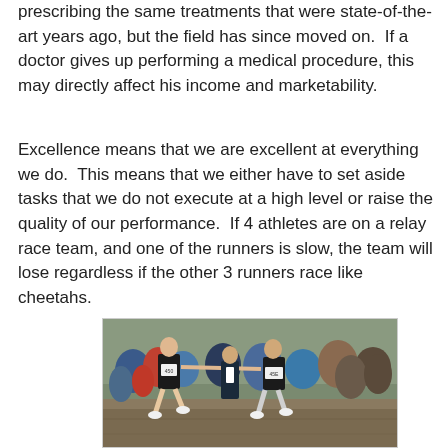prescribing the same treatments that were state-of-the-art years ago, but the field has since moved on.  If a doctor gives up performing a medical procedure, this may directly affect his income and marketability.
Excellence means that we are excellent at everything we do.  This means that we either have to set aside tasks that we do not execute at a high level or raise the quality of our performance.  If 4 athletes are on a relay race team, and one of the runners is slow, the team will lose regardless if the other 3 runners race like cheetahs.
[Figure (photo): Black and white photograph of two relay race runners exchanging a baton, with bib numbers 450 and 45E, surrounded by spectators and officials on a grassy field.]